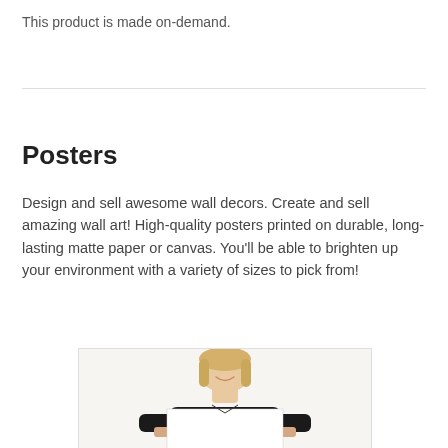This product is made on-demand.
Posters
Design and sell awesome wall decors. Create and sell amazing wall art! High-quality posters printed on durable, long-lasting matte paper or canvas. You'll be able to brighten up your environment with a variety of sizes to pick from!
[Figure (photo): Woman in black top holding a blank white poster/canvas in front of her, smiling, with blonde hair.]